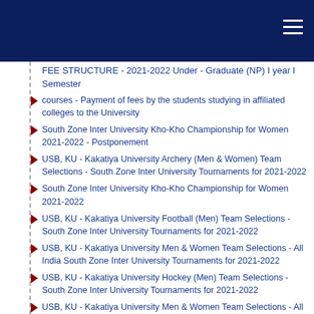FEE STRUCTURE - 2021-2022 Under - Graduate (NP) I year I Semester
courses - Payment of fees by the students studying in affiliated colleges to the University
South Zone Inter University Kho-Kho Championship for Women 2021-2022 - Postponement
USB, KU - Kakatiya University Archery (Men & Women) Team Selections - South Zone Inter University Tournaments for 2021-2022
South Zone Inter University Kho-Kho Championship for Women 2021-2022
USB, KU - Kakatiya University Football (Men) Team Selections - South Zone Inter University Tournaments for 2021-2022
USB, KU - Kakatiya University Men & Women Team Selections - All India South Zone Inter University Tournaments for 2021-2022
USB, KU - Kakatiya University Hockey (Men) Team Selections - South Zone Inter University Tournaments for 2021-2022
USB, KU - Kakatiya University Men & Women Team Selections - All India South Zone Inter University Tournaments for 2021-2022
CIRCULAR - All the Principals/Physical Directors of college under the Jurisdiction of Kakatiya University are hereby informed that the Inter-